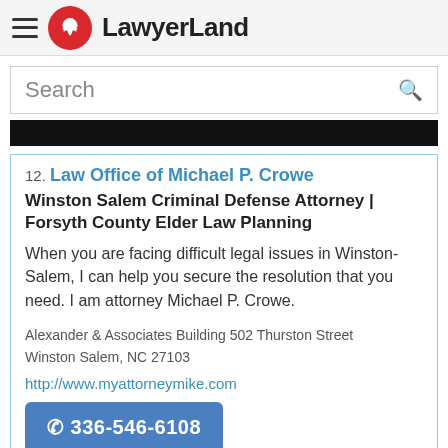LawyerLand
Search
12. Law Office of Michael P. Crowe - Winston Salem Criminal Defense Attorney | Forsyth County Elder Law Planning - When you are facing difficult legal issues in Winston-Salem, I can help you secure the resolution that you need. I am attorney Michael P. Crowe. Alexander & Associates Building 502 Thurston Street Winston Salem, NC 27103 - http://www.myattorneymike.com - 336-546-6108